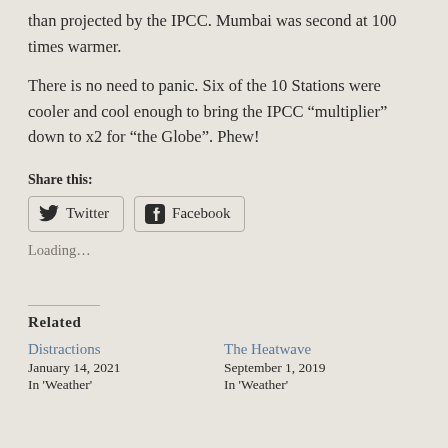than projected by the IPCC. Mumbai was second at 100 times warmer.
There is no need to panic. Six of the 10 Stations were cooler and cool enough to bring the IPCC “multiplier” down to x2 for “the Globe”. Phew!
Share this:
Twitter  Facebook
Loading…
Related
Distractions
January 14, 2021
In 'Weather'
The Heatwave
September 1, 2019
In 'Weather'